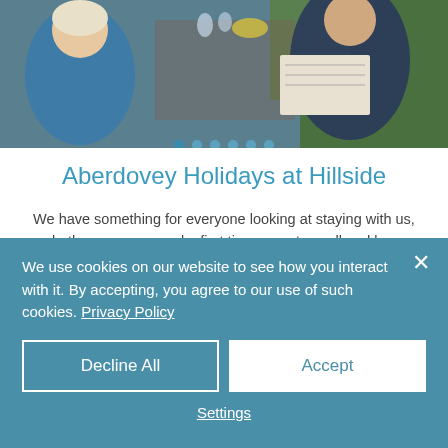[Figure (photo): Couple sitting at an outdoor table looking at a brochure, sunny garden setting]
Aberdovey Holidays at Hillside
We have something for everyone looking at staying with us, whether you are couple, first time parent, small and large family, want to bring your dogs or extended family looking for more than one property on the same site; want a short break or a longer holiday.  We are in a fantastic location for enjoying Aberdovey and the area, by foot, rail or car, we also
We use cookies on our website to see how you interact with it. By accepting, you agree to our use of such cookies. Privacy Policy
Decline All
Accept
Settings